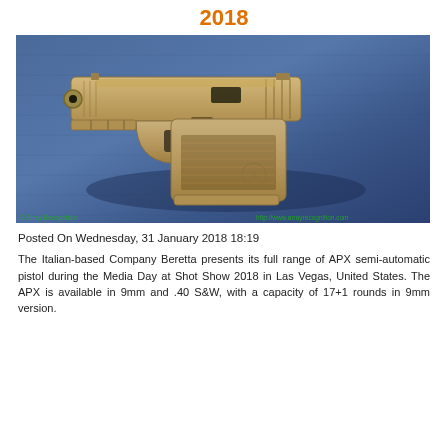2018
[Figure (photo): Beretta APX semi-automatic pistol in flat dark earth (FDE) tan color, shown on a blue fabric background. The compact pistol is shown from the left side. Watermarks read '© Array Recognition' and 'http://www.arrayrecognition.com'.]
Posted On Wednesday, 31 January 2018 18:19
The Italian-based Company Beretta presents its full range of APX semi-automatic pistol during the Media Day at Shot Show 2018 in Las Vegas, United States. The APX is available in 9mm and .40 S&W, with a capacity of 17+1 rounds in 9mm version.